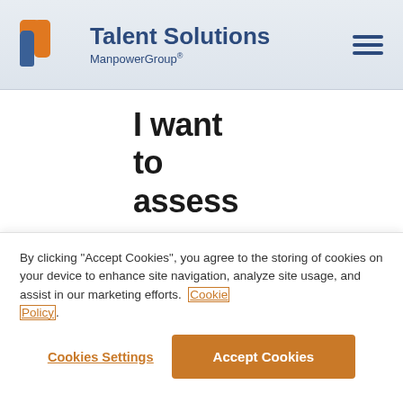[Figure (logo): Talent Solutions ManpowerGroup logo with orange and blue arrow/bracket icon]
I want to assess my workforce▲ to
By clicking "Accept Cookies", you agree to the storing of cookies on your device to enhance site navigation, analyze site usage, and assist in our marketing efforts. Cookie Policy.
Cookies Settings | Accept Cookies